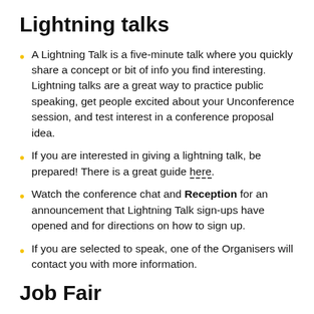Lightning talks
A Lightning Talk is a five-minute talk where you quickly share a concept or bit of info you find interesting. Lightning talks are a great way to practice public speaking, get people excited about your Unconference session, and test interest in a conference proposal idea.
If you are interested in giving a lightning talk, be prepared! There is a great guide here.
Watch the conference chat and Reception for an announcement that Lightning Talk sign-ups have opened and for directions on how to sign up.
If you are selected to speak, one of the Organisers will contact you with more information.
Job Fair